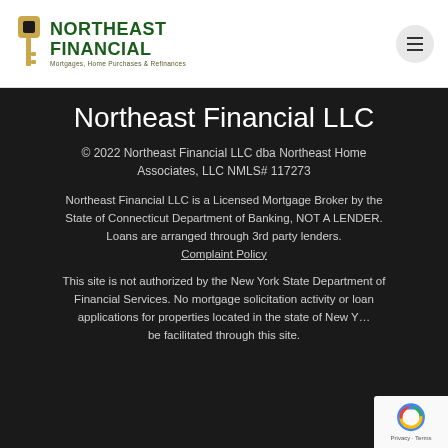[Figure (logo): Northeast Financial LLC logo with key icon and green text]
Northeast Financial LLC
© 2022 Northeast Financial LLC dba Northeast Home Associates, LLC NMLS# 117273
Northeast Financial LLC is a Licensed Mortgage Broker by the State of Connecticut Department of Banking, NOT A LENDER. Loans are arranged through 3rd party lenders. Complaint Policy
This site is not authorized by the New York State Department of Financial Services. No mortgage solicitation activity or loan applications for properties located in the state of New York may be facilitated through this site.